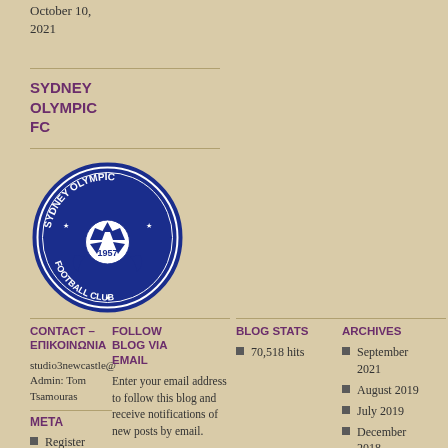October 10, 2021
SYDNEY OLYMPIC FC
[Figure (logo): Sydney Olympic Football Club circular logo with soccer ball, wreath, and year 1957, in blue and white]
CONTACT – ΕΠΙΚΟΙΝΩΝΙΑ
studio3newcastle@
Admin: Tom Tsamouras
META
Register
Log in
FOLLOW BLOG VIA EMAIL
Enter your email address to follow this blog and receive notifications of new posts by email.
BLOG STATS
70,518 hits
ARCHIVES
September 2021
August 2019
July 2019
December 2018
April 2018
February 2018